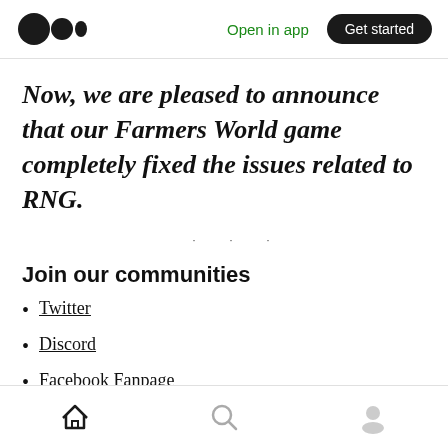Medium logo | Open in app | Get started
Now, we are pleased to announce that our Farmers World game completely fixed the issues related to RNG.
• • •
Join our communities
Twitter
Discord
Facebook Fanpage
Home | Search | Profile